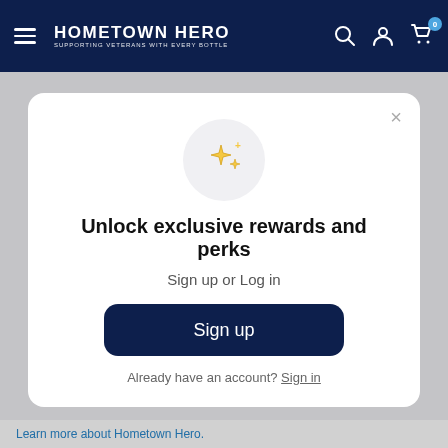HOMETOWN HERO — SUPPORTING VETERANS WITH EVERY BOTTLE
[Figure (illustration): Shield icon with cross pattern in dark blue outline]
We always give back
[Figure (illustration): Sparkle stars icon inside a light gray circle]
Unlock exclusive rewards and perks
Sign up or Log in
Sign up
Already have an account? Sign in
Learn more about Hometown Hero.